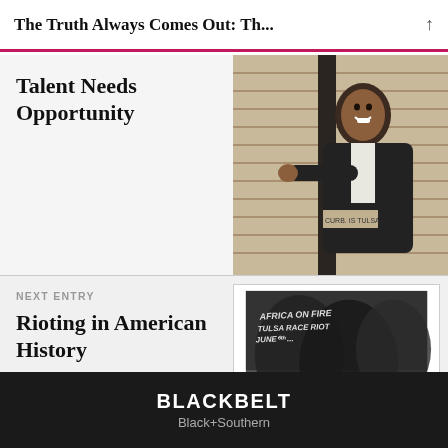The Truth Always Comes Out: Th...
Talent Needs Opportunity
[Figure (photo): A man in a dark blazer smiling and pointing at something on a brick wall outdoors.]
NEXT ENTRY
Rioting in American History
[Figure (photo): A historical black and white photograph of the Tulsa Race Riot, showing fire and smoke with handwritten text 'AFRICA ON FIRE TULSA RACE RIOT JUNE ...']
BLACKBELT
Black+Southern